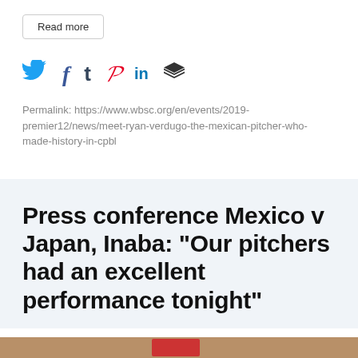Read more
[Figure (infographic): Social media sharing icons: Twitter (blue bird), Facebook (f), Tumblr (t), Pinterest (P), LinkedIn (in), Buffer (stacked layers)]
Permalink: https://www.wbsc.org/en/events/2019-premier12/news/meet-ryan-verdugo-the-mexican-pitcher-who-made-history-in-cpbl
Press conference Mexico v Japan, Inaba: "Our pitchers had an excellent performance tonight"
[Figure (photo): Partial photo strip at the bottom of the page showing baseball-related imagery]